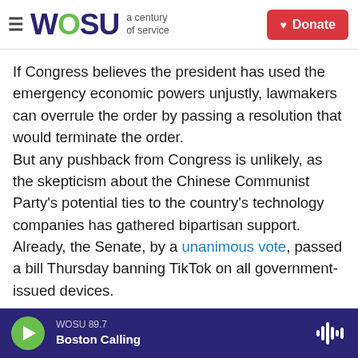WOSU a century of service | Donate
If Congress believes the president has used the emergency economic powers unjustly, lawmakers can overrule the order by passing a resolution that would terminate the order.
But any pushback from Congress is unlikely, as the skepticism about the Chinese Communist Party's potential ties to the country's technology companies has gathered bipartisan support.
Already, the Senate, by a unanimous vote, passed a bill Thursday banning TikTok on all government-issued devices.
WOSU 89.7 | Boston Calling